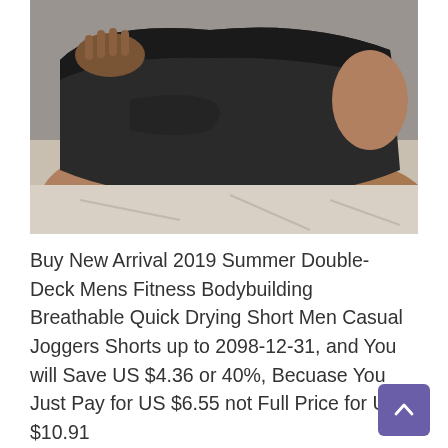[Figure (photo): Close-up photo of a person wearing dark black athletic/bodybuilding shorts, reclining on a light-colored surface. The person's torso and thighs are visible, showing the shorts' waistband being held.]
Buy New Arrival 2019 Summer Double-Deck Mens Fitness Bodybuilding Breathable Quick Drying Short Men Casual Joggers Shorts up to 2098-12-31, and You will Save US $4.36 or 40%, Becuase You Just Pay for US $6.55 not Full Price for US $10.91